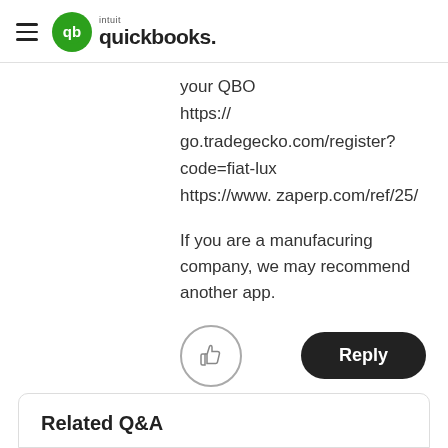QuickBooks (Intuit) logo and navigation
your QBO
https://
go.tradegecko.com/register?
code=fiat-lux
https://www. zaperp.com/ref/25/

If you are a manufacuring company, we may recommend another app.
[Figure (other): Thumbs up button (like) and Reply button]
Related Q&A